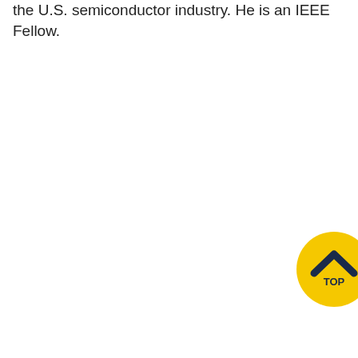the U.S. semiconductor industry. He is an IEEE Fellow.
[Figure (illustration): A circular yellow button/badge with a dark navy upward chevron arrow icon and the text 'TOP' beneath it, positioned in the lower-right area of the page, partially cropped at the right edge.]